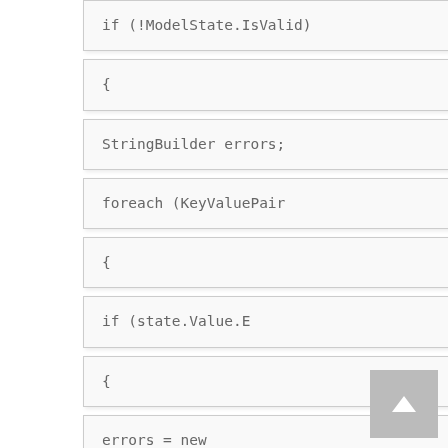if (!ModelState.IsValid)
{
StringBuilder errors;
foreach (KeyValuePair
{
if (state.Value.E
{
errors = new
foreach (Mode